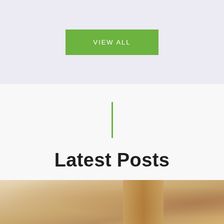VIEW ALL
Latest Posts
[Figure (photo): Blurred interior room photo showing a wooden door with warm tones, out-of-focus background]